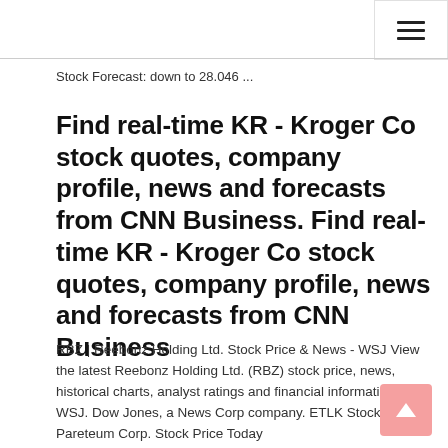Stock Forecast: down to 28.046 ...
Find real-time KR - Kroger Co stock quotes, company profile, news and forecasts from CNN Business. Find real-time KR - Kroger Co stock quotes, company profile, news and forecasts from CNN Business
RBZ | Reebonz Holding Ltd. Stock Price & News - WSJ View the latest Reebonz Holding Ltd. (RBZ) stock price, news, historical charts, analyst ratings and financial information from WSJ. Dow Jones, a News Corp company. ETLK Stock Quote - Pareteum Corp. Stock Price Today